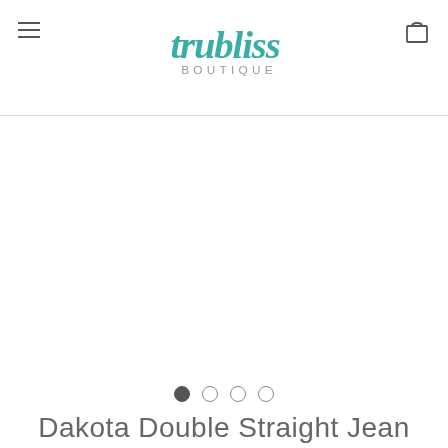trubliss BOUTIQUE
[Figure (screenshot): Large empty white product image area with carousel dot navigation (4 dots, first dot filled/active)]
Dakota Double Straight Jean